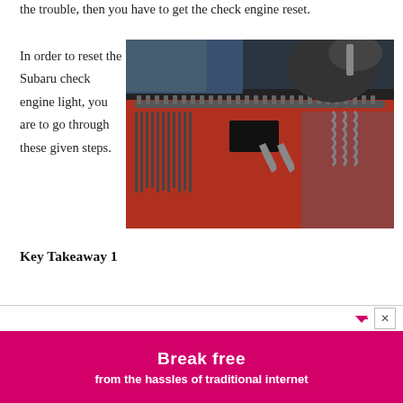the trouble, then you have to get the check engine reset.
In order to reset the Subaru check engine light, you are to go through these given steps.
[Figure (photo): A mechanic with black gloves opening a toolbox drawer filled with various hand tools including wrenches, sockets, and other automotive tools organized in a red toolbox.]
Key Takeaway 1
[Figure (other): Advertisement banner with pink/magenta background. Bold white text reads 'Break free' with subtext 'from the hassles of traditional internet'. Contains forward arrow and close button icons. A blue scroll-to-top button is visible on the right.]